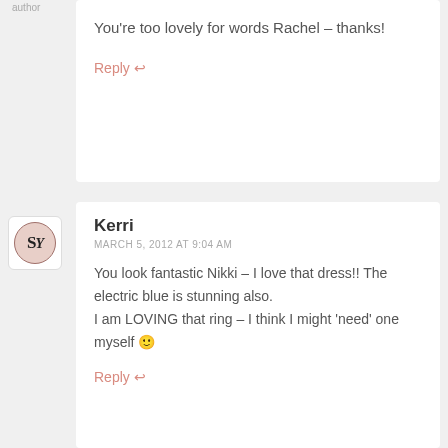author
You're too lovely for words Rachel – thanks!
Reply ↩
Kerri
MARCH 5, 2012 AT 9:04 AM
You look fantastic Nikki – I love that dress!! The electric blue is stunning also.
I am LOVING that ring – I think I might 'need' one myself 🙂
Reply ↩